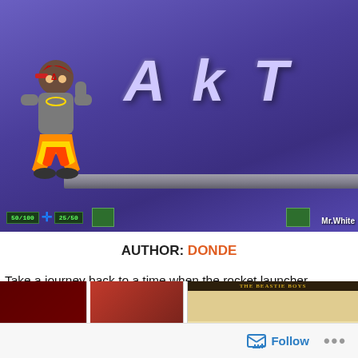[Figure (screenshot): Screenshot of Quake II game with 'AKT' text on purple wall and a game character on a platform, with HUD at bottom. Text 'Mr.White' visible bottom right.]
AUTHOR: DONDE
Take a journey back to a time when the rocket launcher mattered: the late 90's. This website features "Quake II" by id software, and the universe of content created by the Quake 2 community. https://dondeq2.wordpress.com
[Figure (photo): Three thumbnail images at bottom including what appears to be The Beastie Boys album cover]
Follow